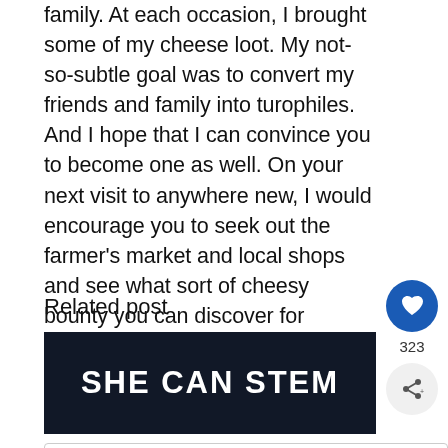family. At each occasion, I brought some of my cheese loot. My not-so-subtle goal was to convert my friends and family into turophiles. And I hope that I can convince you to become one as well. On your next visit to anywhere new, I would encourage you to seek out the farmer's market and local shops and see what sort of cheesy bounty you can discover for yourself. Bon appetit and happy cheesing.
Related post
[Figure (other): SHE CAN STEM banner with white bold text on dark/black background]
[Figure (other): Sterling business ad showing: Sterling OPEN | 6AM-12AM, 45131 Columbia Place, Sterling. With orange logo, blue navigation icon, and close button.]